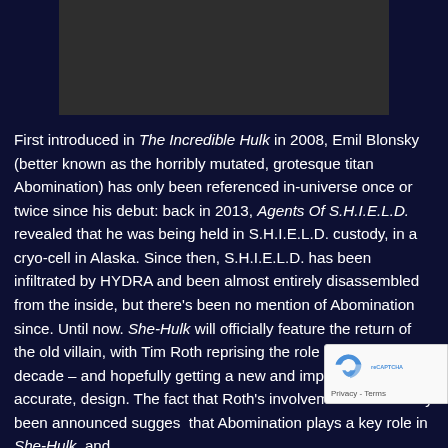[Figure (photo): Dark rectangular image placeholder at the top of the page, likely a video or image thumbnail with dark grey background]
First introduced in The Incredible Hulk in 2008, Emil Blonsky (better known as the horribly mutated, grotesque titan Abomination) has only been referenced in-universe once or twice since his debut: back in 2013, Agents Of S.H.I.E.L.D. revealed that he was being held in S.H.I.E.L.D. custody, in a cryo-cell in Alaska. Since then, S.H.I.E.L.D. has been infiltrated by HYDRA and been almost entirely disassembled from the inside, but there's been no mention of Abomination since. Until now. She-Hulk will officially feature the return of the old villain, with Tim Roth reprising the role after over a decade – and hopefully getting a new and improved comics-accurate, design. The fact that Roth's involvement has already been announced suggests that Abomination plays a key role in She-Hulk, and
[Figure (other): reCAPTCHA badge with logo and Privacy - Terms text]